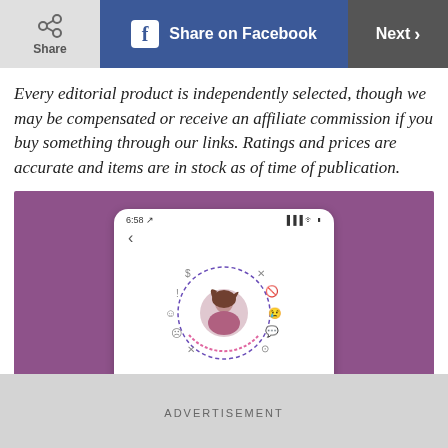Share | Share on Facebook | Next
Every editorial product is independently selected, though we may be compensated or receive an affiliate commission if you buy something through our links. Ratings and prices are accurate and items are in stock as of time of publication.
[Figure (screenshot): A smartphone screenshot showing a 'Restricted Accounts' feature in an app, with a profile photo of a woman in the center surrounded by a dashed circle and various emoji/action icons around it. The status bar shows 6:58 and signal/battery indicators.]
ADVERTISEMENT